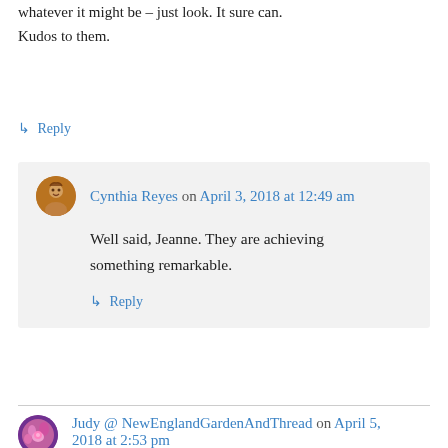whatever it might be – just look. It sure can. Kudos to them.
↳ Reply
Cynthia Reyes on April 3, 2018 at 12:49 am
Well said, Jeanne. They are achieving something remarkable.
↳ Reply
Judy @ NewEnglandGardenAndThread on April 5, 2018 at 2:53 pm
Amazing story of people helping people, and everyone is enriched by the process. 🙂